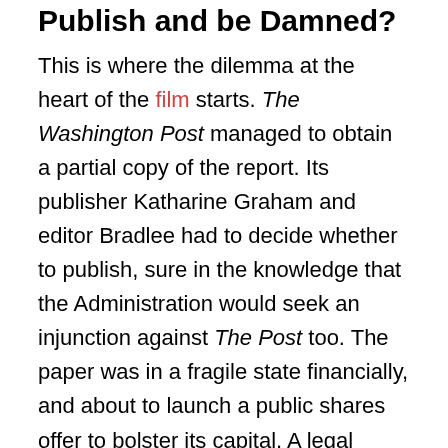Publish and be Damned?
This is where the dilemma at the heart of the film starts. The Washington Post managed to obtain a partial copy of the report. Its publisher Katharine Graham and editor Bradlee had to decide whether to publish, sure in the knowledge that the Administration would seek an injunction against The Post too. The paper was in a fragile state financially, and about to launch a public shares offer to bolster its capital. A legal action would not appeal to investors. Publication could mean financial ruin